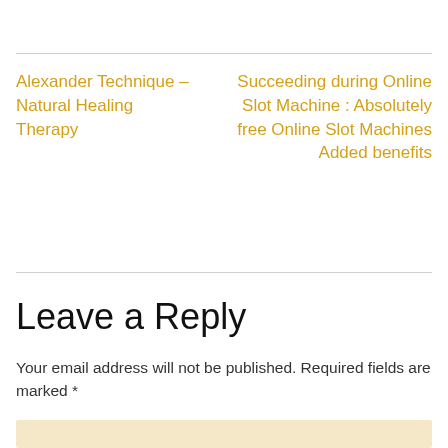Alexander Technique – Natural Healing Therapy
Succeeding during Online Slot Machine : Absolutely free Online Slot Machines Added benefits
Leave a Reply
Your email address will not be published. Required fields are marked *